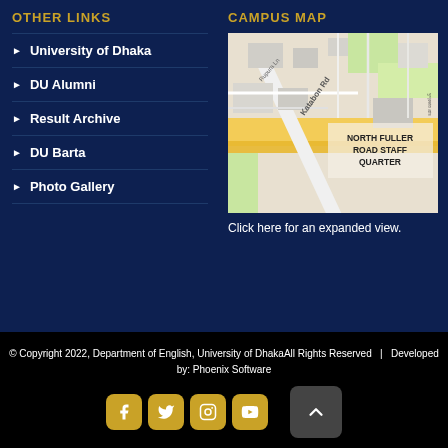OTHER LINKS
University of Dhaka
DU Alumni
Result Archive
DU Barta
Photo Gallery
CAMPUS MAP
[Figure (map): Google Maps view showing Katabon Rd, Rupura Ln, and North Fuller Road Staff Quarter area near University of Dhaka campus]
Click here for an expanded view.
© Copyright 2022, Department of English, University of DhakaAll Rights Reserved  |  Developed by: Phoenix Software